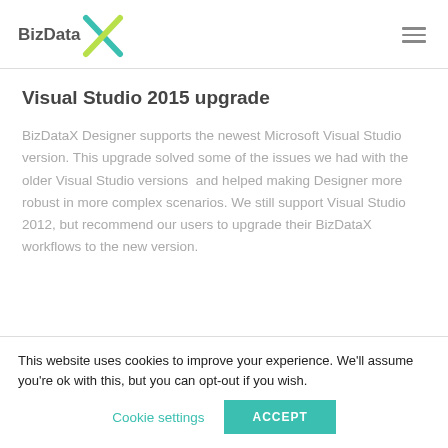[Figure (logo): BizDataX logo with teal and yellow-green X icon]
Visual Studio 2015 upgrade
BizDataX Designer supports the newest Microsoft Visual Studio version. This upgrade solved some of the issues we had with the older Visual Studio versions  and helped making Designer more robust in more complex scenarios. We still support Visual Studio 2012, but recommend our users to upgrade their BizDataX workflows to the new version.
This website uses cookies to improve your experience. We'll assume you're ok with this, but you can opt-out if you wish.